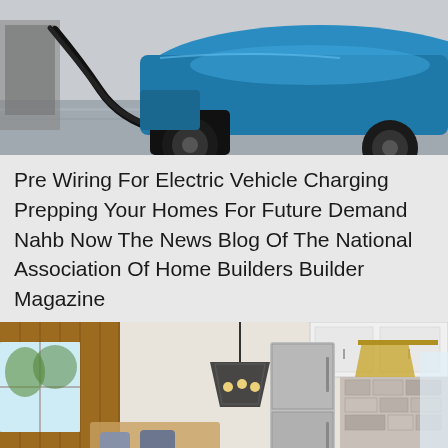[Figure (photo): Close-up photo of a blue electric vehicle being charged, showing the charging cable connected near the wheel, with a charging station visible in the background on a paved surface.]
Pre Wiring For Electric Vehicle Charging Prepping Your Homes For Future Demand Nahb Now The News Blog Of The National Association Of Home Builders Builder Magazine
[Figure (photo): Interior photo of a renovated cottage showing an open-plan kitchen and dining area with wood-paneled walls, a geometric pendant light, stainless steel appliances, white cabinets, stone backsplash, light hardwood floors, and a black railing in the foreground.]
This Weekes Beach Cottage Which Got Renovated Or